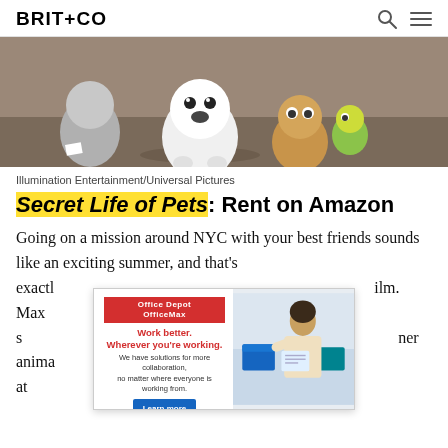BRIT+CO
[Figure (photo): Animated characters from Secret Life of Pets — a fluffy white dog in the center looking shocked, with other animal characters behind it on a dirt background]
Illumination Entertainment/Universal Pictures
Secret Life of Pets: Rent on Amazon
Going on a mission around NYC with your best friends sounds like an exciting summer, and that's exactly what happens in this film. Max s... ner anima... e at
[Figure (other): Office Depot OfficeMax advertisement overlay: Work better. Wherever you're working. We have solutions for more collaboration, no matter where everyone is working from. Learn more button. Shows woman reading a document.]